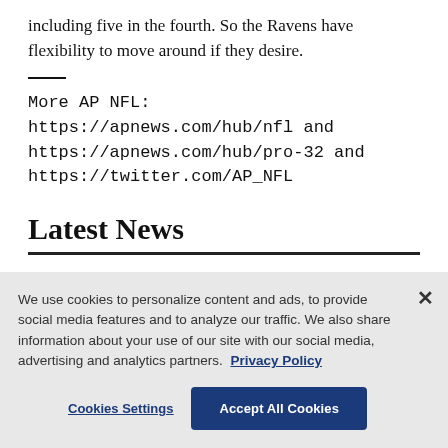including five in the fourth. So the Ravens have flexibility to move around if they desire.
More AP NFL: https://apnews.com/hub/nfl and https://apnews.com/hub/pro-32 and https://twitter.com/AP_NFL
Latest News
We use cookies to personalize content and ads, to provide social media features and to analyze our traffic. We also share information about your use of our site with our social media, advertising and analytics partners. Privacy Policy
Cookies Settings | Accept All Cookies